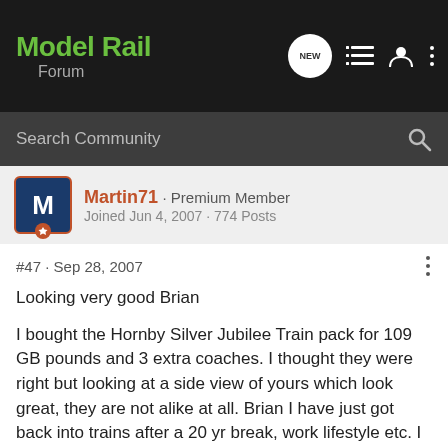Model Rail Forum
Search Community
Martin71 · Premium Member
Joined Jun 4, 2007 · 774 Posts
#47 · Sep 28, 2007
Looking very good Brian
I bought the Hornby Silver Jubilee Train pack for 109 GB pounds and 3 extra coaches. I thought they were right but looking at a side view of yours which look great, they are not alike at all. Brian I have just got back into trains after a 20 yr break, work lifestyle etc. I have only being doing it for about 9 months now since my beautiful wife bought me the Hornby DCC pullman set as a surprise.
Where do you get your plastic kits from. I find them very